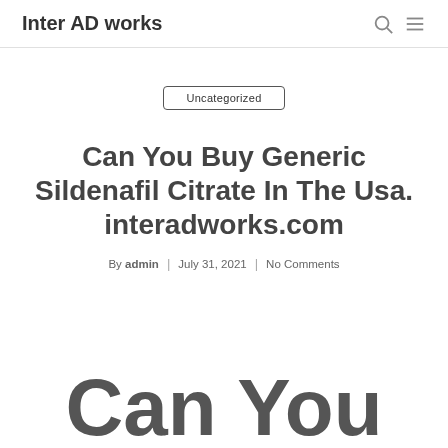Inter AD works
Uncategorized
Can You Buy Generic Sildenafil Citrate In The Usa. interadworks.com
By admin | July 31, 2021 | No Comments
Can You